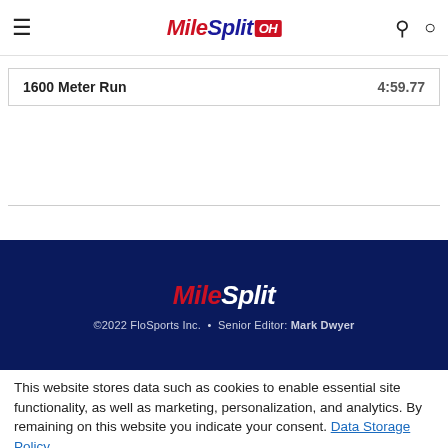MileSplit OH
| Event | Time |
| --- | --- |
| 1600 Meter Run | 4:59.77 |
[Figure (logo): MileSplit footer logo]
©2022 FloSports Inc. • Senior Editor: Mark Dwyer
This website stores data such as cookies to enable essential site functionality, as well as marketing, personalization, and analytics. By remaining on this website you indicate your consent. Data Storage Policy